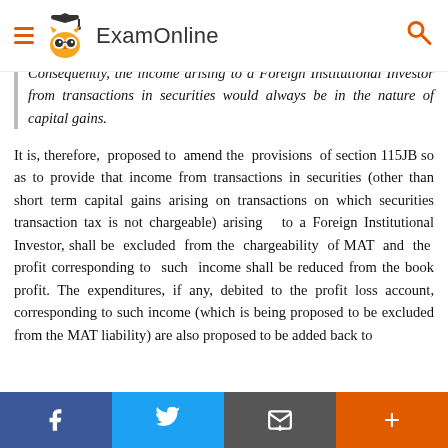ExamOnline
Consequently, the income arising to a Foreign Institutional Investor from transactions in securities would always be in the nature of capital gains.
It is, therefore, proposed to amend the provisions of section 115JB so as to provide that income from transactions in securities (other than short term capital gains arising on transactions on which securities transaction tax is not chargeable) arising to a Foreign Institutional Investor, shall be excluded from the chargeability of MAT and the profit corresponding to such income shall be reduced from the book profit. The expenditures, if any, debited to the profit loss account, corresponding to such income (which is being proposed to be excluded from the MAT liability) are also proposed to be added back to
f  t  [email]  +